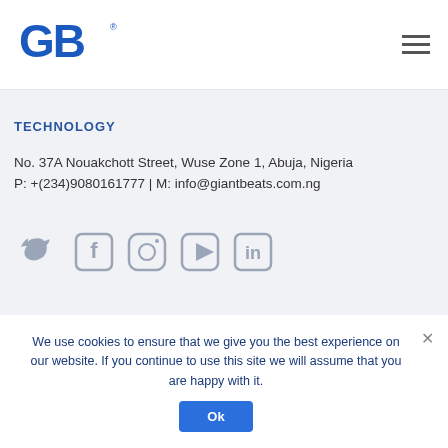[Figure (logo): GB (Giant Beats) logo in blue with registered trademark symbol]
TECHNOLOGY
No. 37A Nouakchott Street, Wuse Zone 1, Abuja, Nigeria
P: +(234)9080161777 | M: info@giantbeats.com.ng
[Figure (infographic): Social media icons: Twitter, Facebook, Instagram, YouTube, LinkedIn — all in light gray]
We use cookies to ensure that we give you the best experience on our website. If you continue to use this site we will assume that you are happy with it.